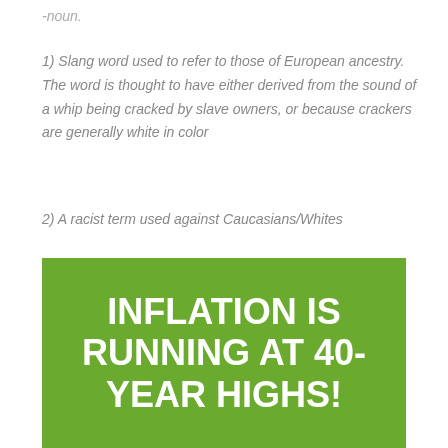-noun.
1) Slang word used to refer to those of European ancestry. The word is thought to have either derived from the sound of a whip being cracked by slave owners, or because crackers are generally white in color
2) A racist term used against Caucasians/Whites
[Figure (infographic): Green rectangle banner with bold white text reading: INFLATION IS RUNNING AT 40-YEAR HIGHS!]